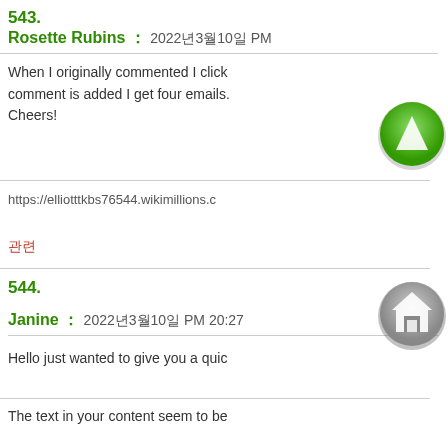543.
Rosette Rubins : 2022년3월10일 PM
When I originally commented I click comment is added I get four emails. Cheers!
https://elliotttkbs76544.wikimillions.c
00
544.
Janine : 2022년3월10일 PM 20:27
Hello just wanted to give you a quic
The text in your content seem to be